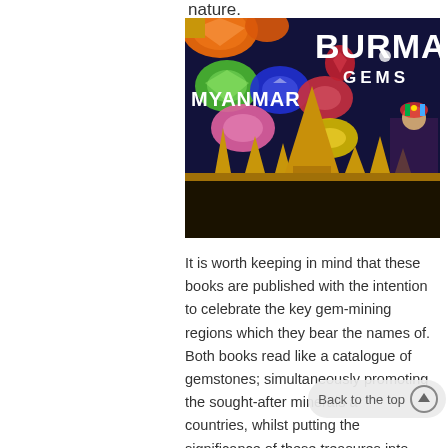nature.
[Figure (photo): Book cover or promotional image for 'Myanmar Burma Gems' showing colorful gemstones (orange, green, blue, pink, red, yellow) composited over a dark blue background with golden temple silhouettes and a traditionally dressed woman, with the text 'MYANMAR' and 'BURMA GEMS' overlaid in white bold lettering.]
It is worth keeping in mind that these books are published with the intention to celebrate the key gem-mining regions which they bear the names of. Both books read like a catalogue of gemstones; simultaneously promoting the sought-after minerals and countries, whilst putting the significance of these treasures into context. A great example of this is found in the Sri Lanka